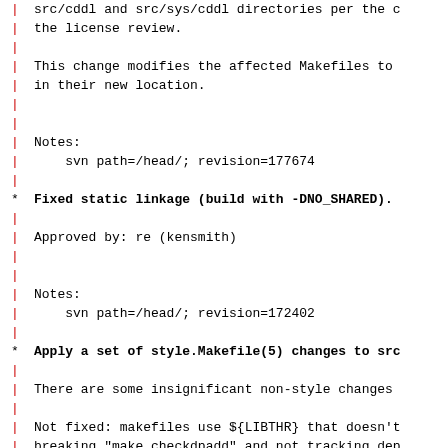src/cddl and src/sys/cddl directories per the c
the license review.
This change modifies the affected Makefiles to
in their new location.
Notes:
    svn path=/head/; revision=177674
Fixed static linkage (build with -DNO_SHARED).
Approved by:    re (kensmith)
Notes:
    svn path=/head/; revision=172402
Apply a set of style.Makefile(5) changes to src
There are some insignificant non-style changes
Not fixed: makefiles use ${LIBTHR} that doesn't
breaking "make checkdpadd" and not tracking dep
properly.
Approved by:    pjd